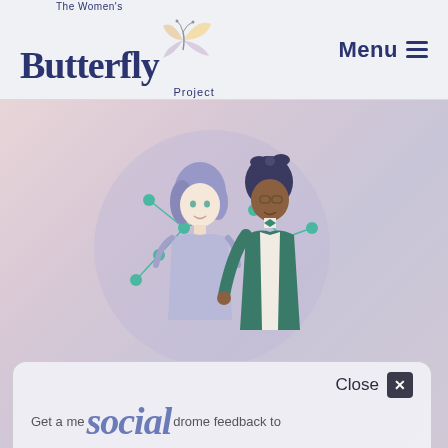[Figure (logo): The Women's Butterfly Project logo with butterfly icon and text]
Menu ≡
[Figure (illustration): Two illustrated women characters facing each other with a network/connection diagram overlay, shown inside a circular background. One woman has light purple hair and a lavender outfit; the other has dark skin, dark hair with a bow, and a teal jacket.]
Close ✕
Get a me... social ...drome feedback to...